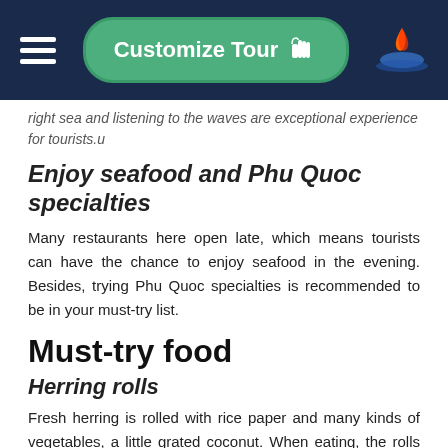Customize Tour
right sea and listening to the waves are exceptional experience for tourists.u
Enjoy seafood and Phu Quoc specialties
Many restaurants here open late, which means tourists can have the chance to enjoy seafood in the evening. Besides, trying Phu Quoc specialties is recommended to be in your must-try list.
Must-try food
Herring rolls
Fresh herring is rolled with rice paper and many kinds of vegetables, a little grated coconut. When eating, the rolls are dipped in excellent fish sauce, which is also poplar in Phu Quoc. Herring rolls sauce is also very special, it is made from chili, garlic and roasted peanuts. All these are crushed and mixed together, and then added with Phu Quoc genuine fish